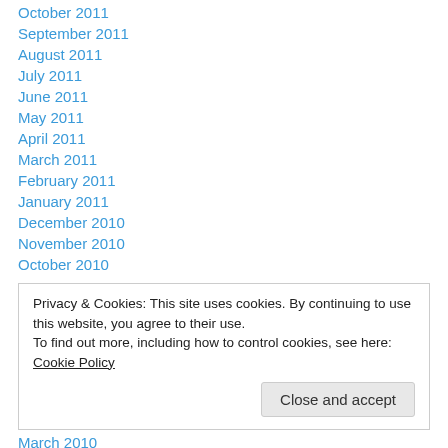October 2011
September 2011
August 2011
July 2011
June 2011
May 2011
April 2011
March 2011
February 2011
January 2011
December 2010
November 2010
October 2010
Privacy & Cookies: This site uses cookies. By continuing to use this website, you agree to their use. To find out more, including how to control cookies, see here: Cookie Policy
March 2010